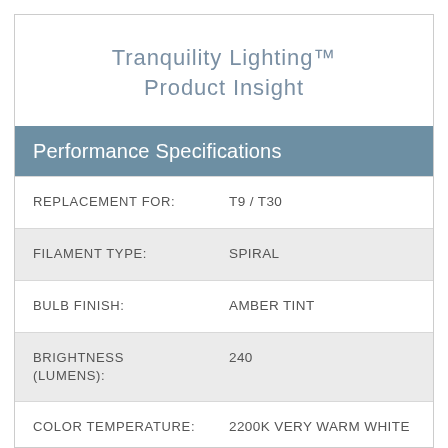Tranquility Lighting™ Product Insight
Performance Specifications
| Specification | Value |
| --- | --- |
| REPLACEMENT FOR: | T9 / T30 |
| FILAMENT TYPE: | SPIRAL |
| BULB FINISH: | AMBER TINT |
| BRIGHTNESS (LUMENS): | 240 |
| COLOR TEMPERATURE: | 2200K VERY WARM WHITE |
| COLOR ACCURACY (CRI): | >80 |